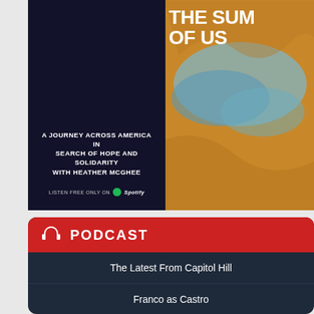[Figure (illustration): Podcast advertisement for 'The Sum of Us' by Heather McGhee. Left dark panel with text 'A Journey Across America in Search of Hope and Solidarity with Heather McGhee' and 'Listen Free Only On Spotify'. Right panel shows a colorful map with bold white title 'THE SUM OF US'.]
PODCAST
The Latest From Capitol Hill
Franco as Castro